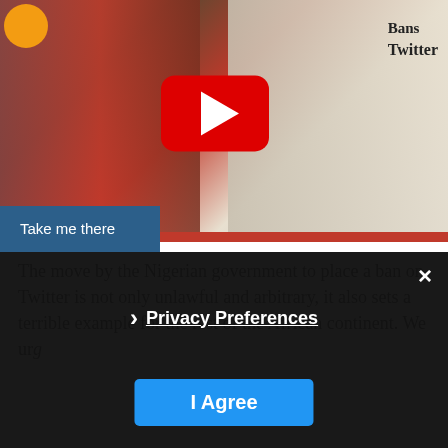[Figure (screenshot): YouTube video thumbnail showing a person in a red jacket holding a bag, with newspaper headlines visible (Twitter ban), YouTube play button overlay, and orange avatar circle in top-left corner.]
The move by the Nigerian government to place a ban on Twitter is not only unlawful and arbitrary, it also sets a terrible example for the rest of the African continent. We urg
Visit our COVID19 Response Hub for resources on documenting human rights abuses during the crisis.
Privacy Preferences
I Agree